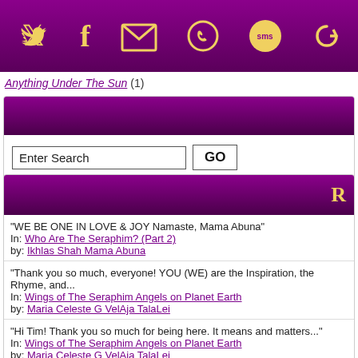Social share icons: Twitter, Facebook, Email, WhatsApp, SMS, Other
Anything Under The Sun (1)
[Figure (other): Purple gradient header bar for search section]
Enter Search [GO button]
[Figure (other): Purple gradient header bar for recent comments section with letter R visible]
"WE BE ONE IN LOVE & JOY Namaste, Mama Abuna"
In: Who Are The Seraphim? (Part 2)
by: Ikhlas Shah Mama Abuna
"Thank you so much, everyone! YOU (WE) are the Inspiration, the Rhyme, and..."
In: Wings of The Seraphim Angels on Planet Earth
by: Maria Celeste G VelAja TalaLei
"Hi Tim! Thank you so much for being here. It means and matters..."
In: Wings of The Seraphim Angels on Planet Earth
by: Maria Celeste G VelAja TalaLei
"super page , super site Maria , enjoying , thank you for your..."
In: Wings of The Seraphim Angels on Planet Earth
by: TD Carlson